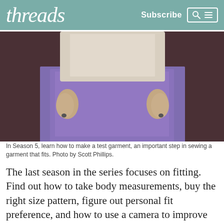threads   Subscribe
[Figure (photo): Close-up photo of a person wearing a white top and a purple/lavender skirt, hands at sides, showing garment fit from waist to mid-thigh.]
In Season 5, learn how to make a test garment, an important step in sewing a garment that fits. Photo by Scott Phillips.
The last season in the series focuses on fitting. Find out how to take body measurements, buy the right size pattern, figure out personal fit preference, and how to use a camera to improve garment fit. Judith also walks through how to create an illustration of